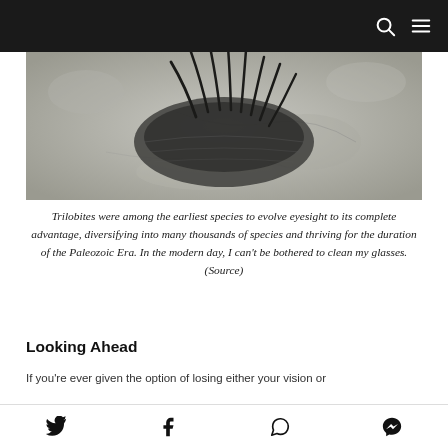[Figure (photo): Close-up photograph of a trilobite fossil embedded in gray stone, showing curved spine-like appendages radiating from the fossil.]
Trilobites were among the earliest species to evolve eyesight to its complete advantage, diversifying into many thousands of species and thriving for the duration of the Paleozoic Era. In the modern day, I can't be bothered to clean my glasses. (Source)
Looking Ahead
If you're ever given the option of losing either your vision or